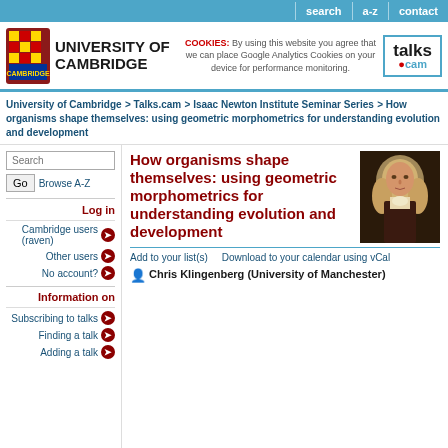search | a-z | contact
[Figure (logo): University of Cambridge logo with shield and text, talks.cam logo, and COOKIES notice]
University of Cambridge > Talks.cam > Isaac Newton Institute Seminar Series > How organisms shape themselves: using geometric morphometrics for understanding evolution and development
Search | Go | Browse A-Z
Log in
Cambridge users (raven)
Other users
No account?
Information on
Subscribing to talks
Finding a talk
Adding a talk
How organisms shape themselves: using geometric morphometrics for understanding evolution and development
[Figure (photo): Portrait painting of Isaac Newton with long white hair]
Add to your list(s)   Download to your calendar using vCal
Chris Klingenberg (University of Manchester)